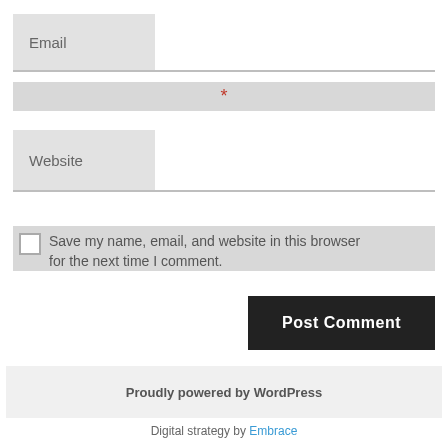Email
*
Website
Save my name, email, and website in this browser for the next time I comment.
Post Comment
Proudly powered by WordPress
Digital strategy by Embrace